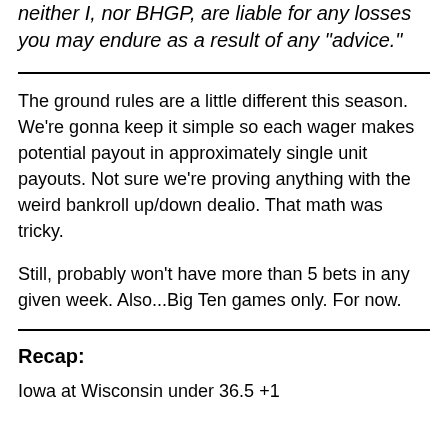neither I, nor BHGP, are liable for any losses you may endure as a result of any "advice."
The ground rules are a little different this season. We're gonna keep it simple so each wager makes potential payout in approximately single unit payouts. Not sure we're proving anything with the weird bankroll up/down dealio. That math was tricky.
Still, probably won't have more than 5 bets in any given week. Also...Big Ten games only. For now.
Recap:
Iowa at Wisconsin under 36.5 +1